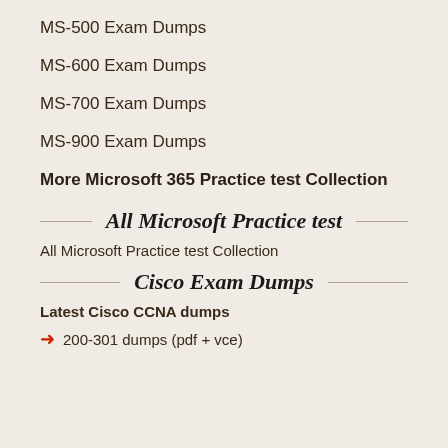MS-500 Exam Dumps
MS-600 Exam Dumps
MS-700 Exam Dumps
MS-900 Exam Dumps
More Microsoft 365 Practice test Collection
All Microsoft Practice test
All Microsoft Practice test Collection
Cisco Exam Dumps
Latest Cisco CCNA dumps
200-301 dumps (pdf + vce)